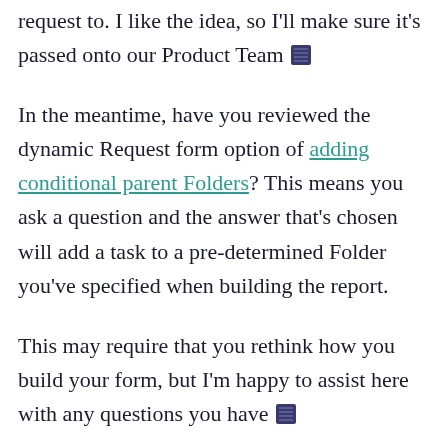request to. I like the idea, so I'll make sure it's passed onto our Product Team 🙂
In the meantime, have you reviewed the dynamic Request form option of adding conditional parent Folders? This means you ask a question and the answer that's chosen will add a task to a pre-determined Folder you've specified when building the report.
This may require that you rethink how you build your form, but I'm happy to assist here with any questions you have 🙂